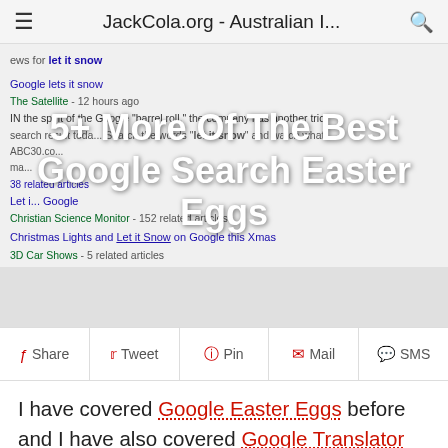≡  JackCola.org - Australian I...  🔍
[Figure (screenshot): Screenshot of a Google search result page showing news for 'let it snow' with results including 'Google lets it snow' from The Satellite 12 hours ago, and 'Christmas Lights and Let it Snow on Google this Xmas' from 3D Car Shows with 5 related articles]
5+ More Of The Best Google Search Easter Eggs
Share  Tweet  Pin  Mail  SMS
I have covered Google Easter Eggs before and I have also covered Google Translator Easter Eggs, but I think it's time for an update to cover some new Google Search Easter Eggs. So if you are looking for a list of fun things to do on Google, here's what you should search for on Google, which is a list of Google Easter Eggs...